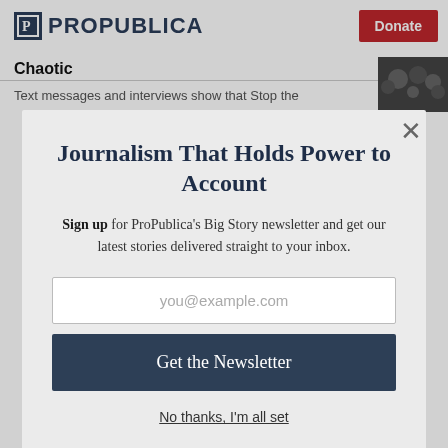ProPublica | Donate
Chaotic
Text messages and interviews show that Stop the
Journalism That Holds Power to Account
Sign up for ProPublica's Big Story newsletter and get our latest stories delivered straight to your inbox.
you@example.com
Get the Newsletter
No thanks, I'm all set
This site is protected by reCAPTCHA and the Google Privacy Policy and Terms of Service apply.